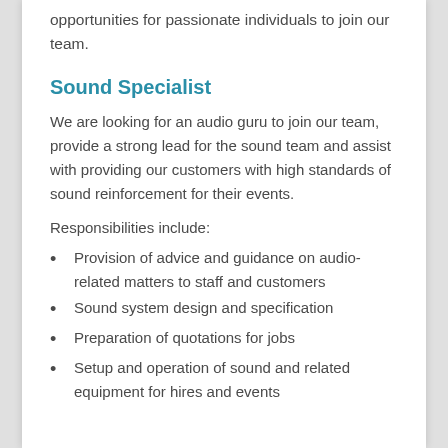opportunities for passionate individuals to join our team.
Sound Specialist
We are looking for an audio guru to join our team, provide a strong lead for the sound team and assist with providing our customers with high standards of sound reinforcement for their events.
Responsibilities include:
Provision of advice and guidance on audio-related matters to staff and customers
Sound system design and specification
Preparation of quotations for jobs
Setup and operation of sound and related equipment for hires and events